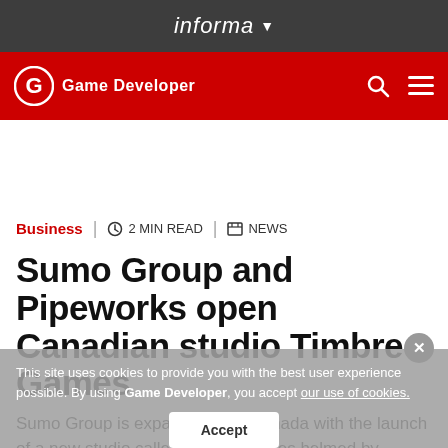informa
Game Developer
[Figure (other): Advertisement/blank space]
Business | 2 MIN READ | NEWS
Sumo Group and Pipeworks open Canadian studio Timbre Games
This site uses cookies to provide you with the best user experience possible. By using Game Developer, you accept our use of cookies.
Sumo Group is expanding into Canada with the launch of a new studio called Timbre Games helmed by former Maxis VP and